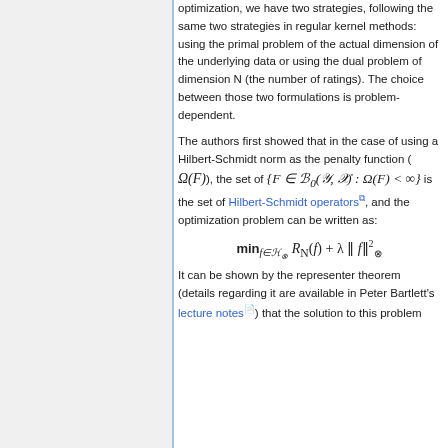optimization, we have two strategies, following the same two strategies in regular kernel methods: using the primal problem of the actual dimension of the underlying data or using the dual problem of dimension N (the number of ratings). The choice between those two formulations is problem-dependent.
The authors first showed that in the case of using a Hilbert-Schmidt norm as the penalty function ( Ω(F)), the set of {F ∈ B₀(Y, X) : Ω(F) < ∞} is the set of Hilbert-Schmidt operators, and the optimization problem can be written as:
It can be shown by the representer theorem (details regarding it are available in Peter Bartlett's lecture notes) that the solution to this problem